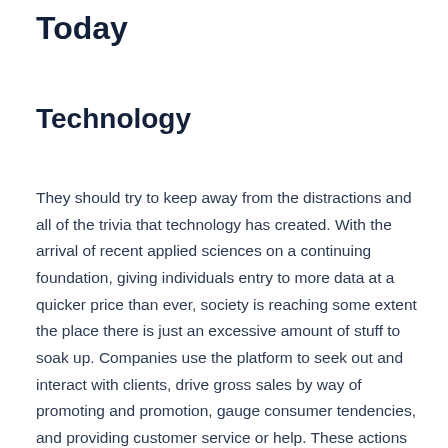Today
Technology
They should try to keep away from the distractions and all of the trivia that technology has created. With the arrival of recent applied sciences on a continuing foundation, giving individuals entry to more data at a quicker price than ever, society is reaching some extent the place there is just an excessive amount of stuff to soak up. Companies use the platform to seek out and interact with clients, drive gross sales by way of promoting and promotion, gauge consumer tendencies, and providing customer service or help. These actions include photo sharing, blogging, social gaming, social networks, video sharing, enterprise networks, virtual worlds, evaluations and rather more. Even governments and politicians utilize social media to have interaction